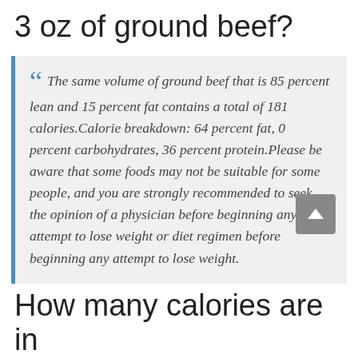3 oz of ground beef?
The same volume of ground beef that is 85 percent lean and 15 percent fat contains a total of 181 calories.Calorie breakdown: 64 percent fat, 0 percent carbohydrates, 36 percent protein.Please be aware that some foods may not be suitable for some people, and you are strongly recommended to seek the opinion of a physician before beginning any attempt to lose weight or diet regimen before beginning any attempt to lose weight.
How many calories are in